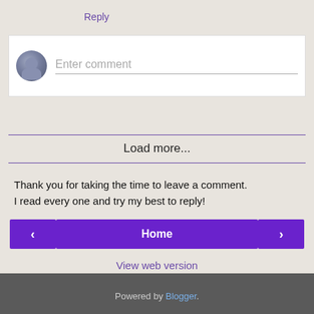Reply
[Figure (screenshot): Comment input box with avatar placeholder and 'Enter comment' placeholder text]
Load more...
Thank you for taking the time to leave a comment.
I read every one and try my best to reply!
[Figure (screenshot): Navigation buttons: left arrow, Home, right arrow]
View web version
Powered by Blogger.